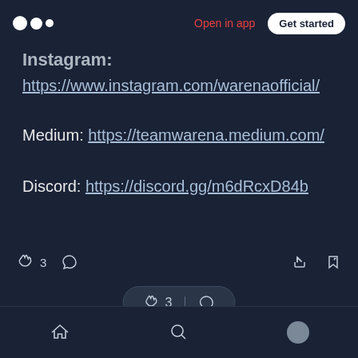Medium logo | Open in app | Get started
Instagram:
https://www.instagram.com/warenaofficial/
Medium: https://teamwarena.medium.com/
Discord: https://discord.gg/m6dRcxD84b
[Figure (screenshot): Article action bar with clap icon showing 3 claps, comment icon, share icon, and bookmark icon]
[Figure (screenshot): Floating pill showing clap icon with 3 and comment icon]
Bottom navigation bar with home, search, and profile icons